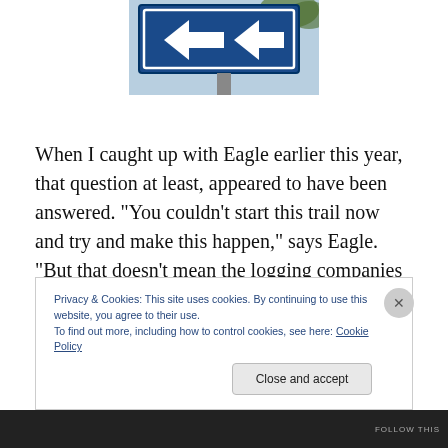[Figure (photo): Partial view of a blue road/trail sign with white arrow graphics, photographed outdoors with trees in background]
When I caught up with Eagle earlier this year, that question at least, appeared to have been answered. “You couldn’t start this trail now and try and make this happen,” says Eagle. “But that doesn’t mean the logging companies won’t stop logging. Western Forest Products, with their
Privacy & Cookies: This site uses cookies. By continuing to use this website, you agree to their use.
To find out more, including how to control cookies, see here: Cookie Policy